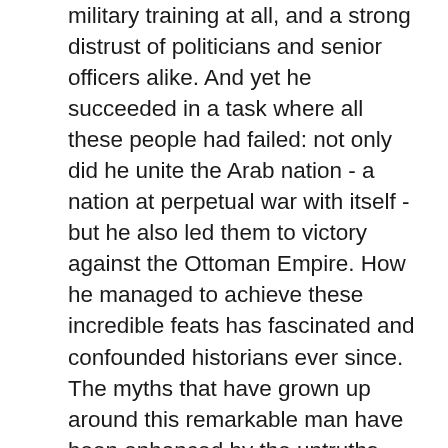military training at all, and a strong distrust of politicians and senior officers alike. And yet he succeeded in a task where all these people had failed: not only did he unite the Arab nation - a nation at perpetual war with itself - but he also led them to victory against the Ottoman Empire. How he managed to achieve these incredible feats has fascinated and confounded historians ever since. The myths that have grown up around this remarkable man have been enhanced by the untruths Lawrence himself propagated. He was never captured and tortured by the Turks as he claimed, neither was he the first to target Ottoman troops by dynamiting their trains. And yet the truth is even more compelling as the fiction. he